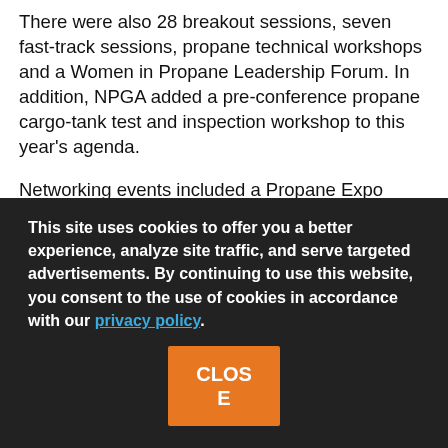There were also 28 breakout sessions, seven fast-track sessions, propane technical workshops and a Women in Propane Leadership Forum. In addition, NPGA added a pre-conference propane cargo-tank test and inspection workshop to this year's agenda.
Networking events included a Propane Expo welcome reception, Women in Propane reception, Young Gassers reception and a prayer breakfast with the Reverend William Fullilove.
The exhibit hall included the United Propane AutoGas
This site uses cookies to offer you a better experience, analyze site traffic, and serve targeted advertisements. By continuing to use this website, you consent to the use of cookies in accordance with our privacy policy.